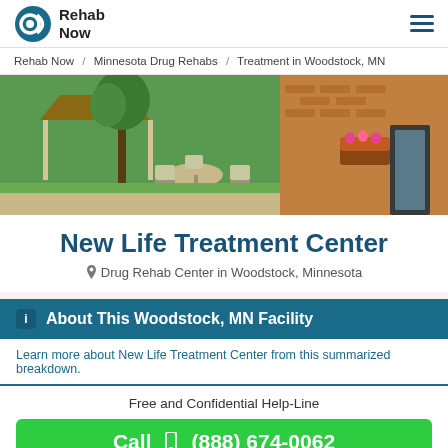Rehab Now
Rehab Now / Minnesota Drug Rehabs / Treatment in Woodstock, MN
[Figure (photo): Exterior photo of New Life Treatment Center facility showing a patio area with outdoor furniture, trees, and brick building exterior.]
New Life Treatment Center
Drug Rehab Center in Woodstock, Minnesota
About This Woodstock, MN Facility
Learn more about New Life Treatment Center from this summarized breakdown.
Free and Confidential Help-Line
Call (888) 674-0062